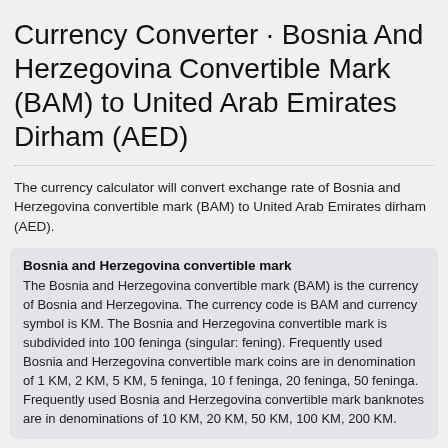Currency Converter · Bosnia And Herzegovina Convertible Mark (BAM) to United Arab Emirates Dirham (AED)
The currency calculator will convert exchange rate of Bosnia and Herzegovina convertible mark (BAM) to United Arab Emirates dirham (AED).
Bosnia and Herzegovina convertible mark
The Bosnia and Herzegovina convertible mark (BAM) is the currency of Bosnia and Herzegovina. The currency code is BAM and currency symbol is KM. The Bosnia and Herzegovina convertible mark is subdivided into 100 feninga (singular: fening). Frequently used Bosnia and Herzegovina convertible mark coins are in denomination of 1 KM, 2 KM, 5 KM, 5 feninga, 10 f feninga, 20 feninga, 50 feninga. Frequently used Bosnia and Herzegovina convertible mark banknotes are in denominations of 10 KM, 20 KM, 50 KM, 100 KM, 200 KM.